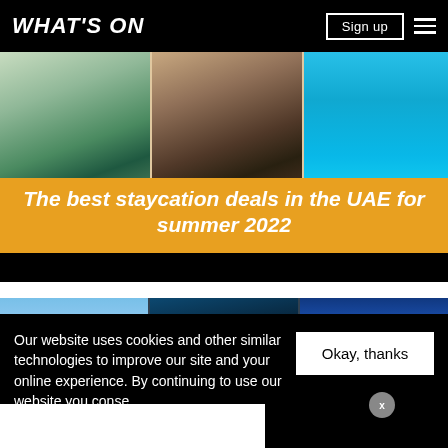WHAT'S ON
[Figure (photo): Top photo collage: three images showing hotel pools and outdoor dining area]
The best staycation deals in the UAE for summer 2022
[Figure (photo): Bottom photo collage: three landscape/nature images with dramatic lighting]
Our website uses cookies and other similar technologies to improve our site and your online experience. By continuing to use our website you conse... our pr...